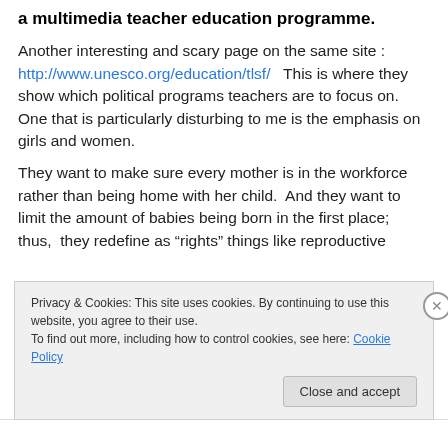a multimedia teacher education programme.
Another interesting and scary page on the same site : http://www.unesco.org/education/tlsf/   This is where they show which political programs teachers are to focus on. One that is particularly disturbing to me is the emphasis on girls and women.
They want to make sure every mother is in the workforce rather than being home with her child.  And they want to limit the amount of babies being born in the first place; thus, they redefine as “rights” things like reproductive
Privacy & Cookies: This site uses cookies. By continuing to use this website, you agree to their use.
To find out more, including how to control cookies, see here: Cookie Policy
Close and accept